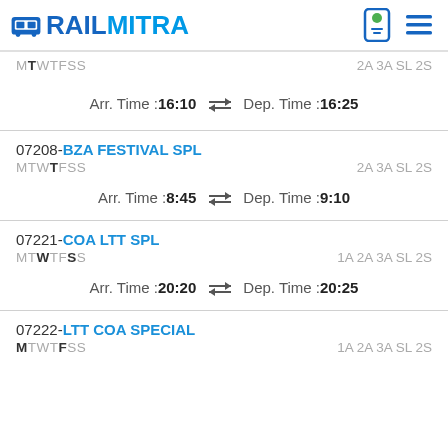RAILMITRA
MTWTFSS  2A 3A SL 2S
Arr. Time :16:10  ⇌  Dep. Time :16:25
07208-BZA FESTIVAL SPL
MTWTFSS  2A 3A SL 2S
Arr. Time :8:45  ⇌  Dep. Time :9:10
07221-COA LTT SPL
MTWTFSS  1A 2A 3A SL 2S
Arr. Time :20:20  ⇌  Dep. Time :20:25
07222-LTT COA SPECIAL
MTWTFSS  1A 2A 3A SL 2S